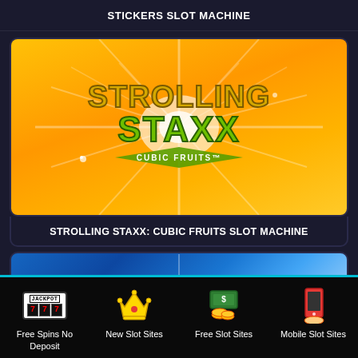STICKERS SLOT MACHINE
[Figure (illustration): Strolling Staxx: Cubic Fruits slot machine game logo on orange sunburst background. Logo shows 'STROLLING STAXX' in golden and green 3D lettering with 'CUBIC FRUITS™' below.]
STROLLING STAXX: CUBIC FRUITS SLOT MACHINE
[Figure (illustration): Partial view of another slot machine game card with blue gradient background.]
Free Spins No Deposit
New Slot Sites
Free Slot Sites
Mobile Slot Sites